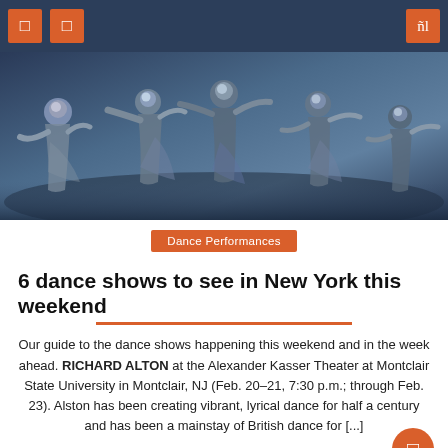Navigation bar with menu icons and search
[Figure (photo): Dancers on stage wearing sparkly masks and flowing grey/white fabric costumes, performing in dramatic lighting on a dark stage]
Dance Performances
6 dance shows to see in New York this weekend
Our guide to the dance shows happening this weekend and in the week ahead. RICHARD ALTON at the Alexander Kasser Theater at Montclair State University in Montclair, NJ (Feb. 20-21, 7:30 p.m.; through Feb. 23). Alston has been creating vibrant, lyrical dance for half a century and has been a mainstay of British dance for [...]